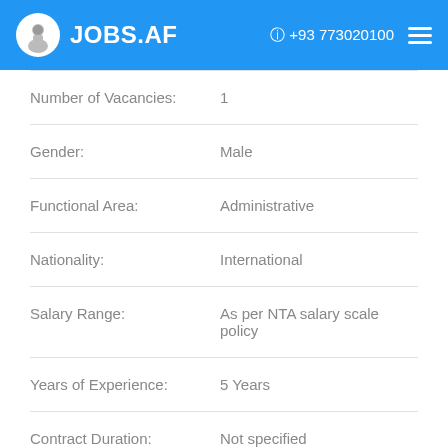JOBS.AF  +93 773020100
| Field | Value |
| --- | --- |
| Number of Vacancies: | 1 |
| Gender: | Male |
| Functional Area: | Administrative |
| Nationality: | International |
| Salary Range: | As per NTA salary scale policy |
| Years of Experience: | 5 Years |
| Contract Duration: | Not specified |
| Possibility of Contract Extension: | false |